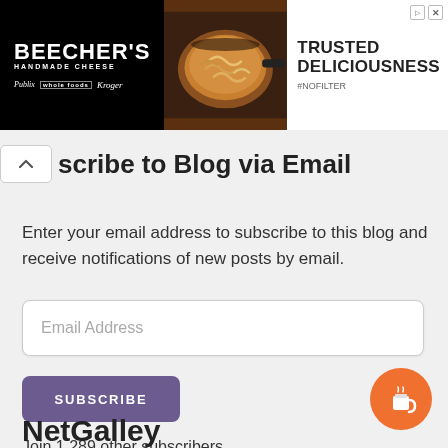[Figure (infographic): Beecher's Handmade Cheese advertisement banner. Left: black background with white logo text 'BEECHER'S HANDMADE CHEESE' and store logos (Publix, Whole Foods, Kroger). Center: photo of pasta dish in cast iron skillet. Right: white background with text 'TRUSTED DELICIOUSNESS #NOFILTER'.]
Subscribe to Blog via Email
Enter your email address to subscribe to this blog and receive notifications of new posts by email.
Email Address
SUBSCRIBE
Join 1,289 other subscribers
NetGalley